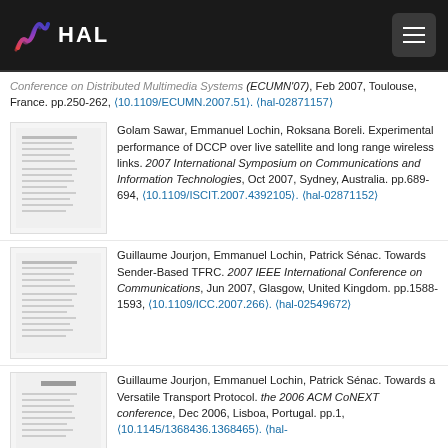HAL
Conference on Distributed Multimedia Systems (ECUMN'07), Feb 2007, Toulouse, France. pp.250-262, ⟨10.1109/ECUMN.2007.51⟩. ⟨hal-02871157⟩
[Figure (other): Thumbnail of academic paper]
Golam Sawar, Emmanuel Lochin, Roksana Boreli. Experimental performance of DCCP over live satellite and long range wireless links. 2007 International Symposium on Communications and Information Technologies, Oct 2007, Sydney, Australia. pp.689-694, ⟨10.1109/ISCIT.2007.4392105⟩. ⟨hal-02871152⟩
[Figure (other): Thumbnail of academic paper]
Guillaume Jourjon, Emmanuel Lochin, Patrick Sénac. Towards Sender-Based TFRC. 2007 IEEE International Conference on Communications, Jun 2007, Glasgow, United Kingdom. pp.1588-1593, ⟨10.1109/ICC.2007.266⟩. ⟨hal-02549672⟩
[Figure (other): Thumbnail of academic paper]
Guillaume Jourjon, Emmanuel Lochin, Patrick Sénac. Towards a Versatile Transport Protocol. the 2006 ACM CoNEXT conference, Dec 2006, Lisboa, Portugal. pp.1, ⟨10.1145/1368436.1368465⟩. ⟨hal-